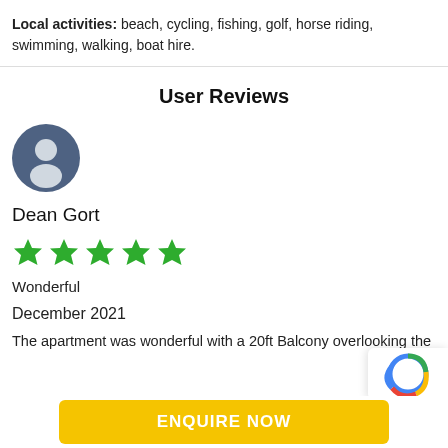Local activities: beach, cycling, fishing, golf, horse riding, swimming, walking, boat hire.
User Reviews
[Figure (illustration): Circular blue-grey user avatar icon with silhouette person graphic]
Dean Gort
[Figure (other): 5 green stars rating]
Wonderful
December 2021
The apartment was wonderful with a 20ft Balcony overlooking the
ENQUIRE NOW